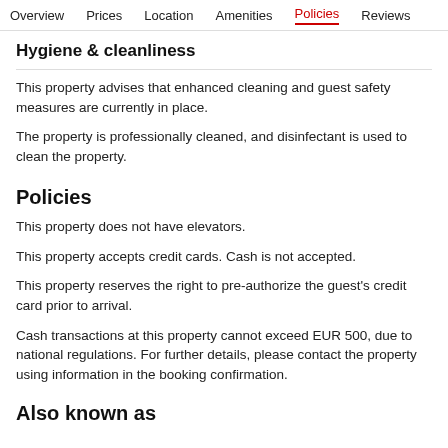Overview  Prices  Location  Amenities  Policies  Reviews
Hygiene & cleanliness
This property advises that enhanced cleaning and guest safety measures are currently in place.
The property is professionally cleaned, and disinfectant is used to clean the property.
Policies
This property does not have elevators.
This property accepts credit cards. Cash is not accepted.
This property reserves the right to pre-authorize the guest's credit card prior to arrival.
Cash transactions at this property cannot exceed EUR 500, due to national regulations. For further details, please contact the property using information in the booking confirmation.
Also known as